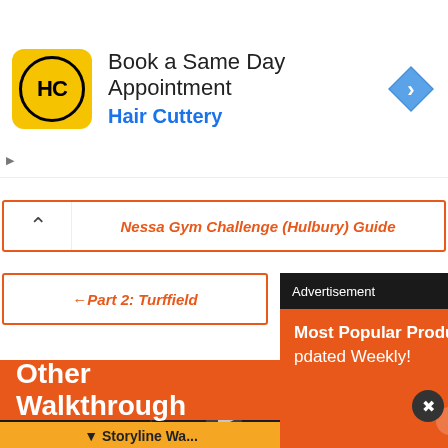[Figure (screenshot): Advertisement banner for Hair Cuttery showing logo, 'Book a Same Day Appointment' title, and navigation arrow]
Nessa Gym Challenge (Hulbury) Guide
← Part 2: Turffield
[Figure (screenshot): Advertisement popup showing 'Most Popular Products Updated Weekly!' on orange background with product icons]
Other Walkthrough
▼ Storyline Wa...
[Figure (screenshot): Video strip showing Ratchet & Clank Future: A Crack in Time and Ratchet & Clank game covers with play button]